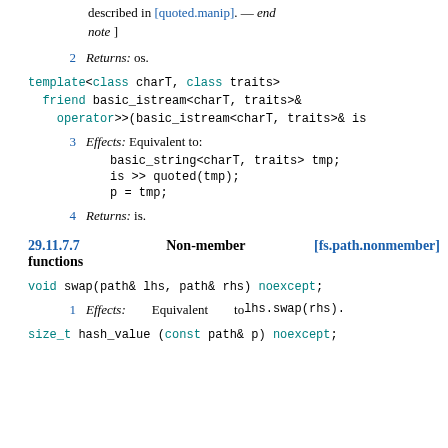described in [quoted.manip]. — end note ]
2   Returns: os.
template<class charT, class traits>
  friend basic_istream<charT, traits>&
    operator>>(basic_istream<charT, traits>& is
3   Effects: Equivalent to:
basic_string<charT, traits> tmp;
is >> quoted(tmp);
p = tmp;
4   Returns: is.
29.11.7.7   Non-member functions [fs.path.nonmember]
void swap(path& lhs, path& rhs) noexcept;
1   Effects: Equivalent to lhs.swap(rhs).
size_t hash_value (const path& p) noexcept;